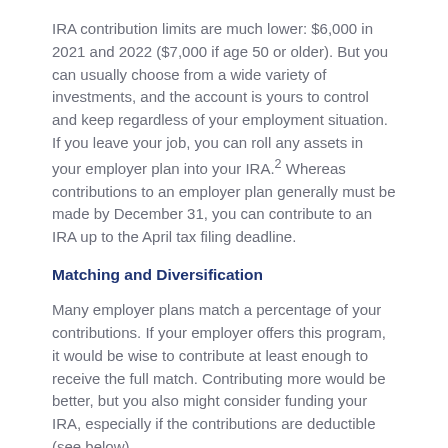IRA contribution limits are much lower: $6,000 in 2021 and 2022 ($7,000 if age 50 or older). But you can usually choose from a wide variety of investments, and the account is yours to control and keep regardless of your employment situation. If you leave your job, you can roll any assets in your employer plan into your IRA.2 Whereas contributions to an employer plan generally must be made by December 31, you can contribute to an IRA up to the April tax filing deadline.
Matching and Diversification
Many employer plans match a percentage of your contributions. If your employer offers this program, it would be wise to contribute at least enough to receive the full match. Contributing more would be better, but you also might consider funding your IRA, especially if the contributions are deductible (see below).